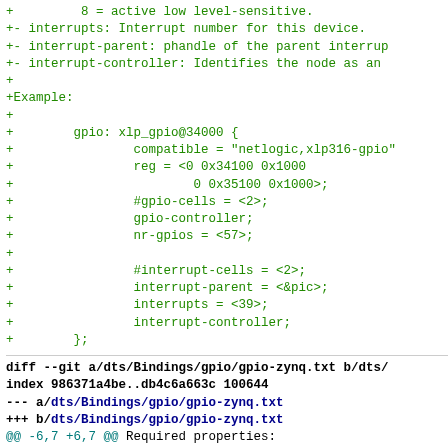code diff showing GPIO device tree bindings including interrupts, example node, and diff for gpio-zynq.txt